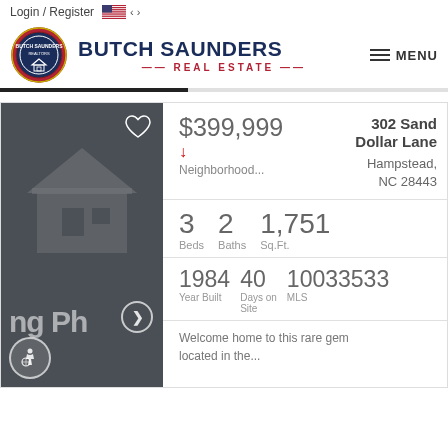Login / Register
[Figure (logo): Butch Saunders Real Estate logo badge with circular emblem and navigation menu button]
BUTCH SAUNDERS REAL ESTATE
$399,999 — 302 Sand Dollar Lane, Hampstead, NC 28443
Neighborhood...
3 Beds  2 Baths  1,751 Sq.Ft.
1984 Year Built  40 Days on Site  10033533 MLS
Welcome home to this rare gem located in the...